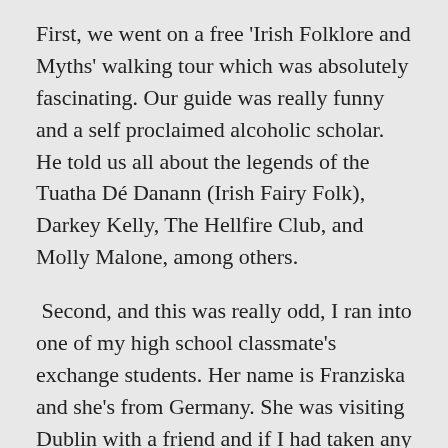First, we went on a free 'Irish Folklore and Myths' walking tour which was absolutely fascinating. Our guide was really funny and a self proclaimed alcoholic scholar. He told us all about the legends of the Tuatha Dé Danann (Irish Fairy Folk), Darkey Kelly, The Hellfire Club, and Molly Malone, among others.
Second, and this was really odd, I ran into one of my high school classmate's exchange students. Her name is Franziska and she's from Germany. She was visiting Dublin with a friend and if I had taken any other street, or had stopped to tie my shoe, or done anything differently, I would not have seen her.
After making plans to meet with Franziska later